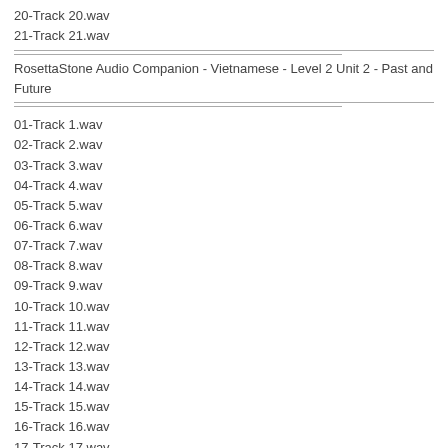20-Track 20.wav
21-Track 21.wav
RosettaStone Audio Companion - Vietnamese - Level 2 Unit 2 - Past and Future
01-Track 1.wav
02-Track 2.wav
03-Track 3.wav
04-Track 4.wav
05-Track 5.wav
06-Track 6.wav
07-Track 7.wav
08-Track 8.wav
09-Track 9.wav
10-Track 10.wav
11-Track 11.wav
12-Track 12.wav
13-Track 13.wav
14-Track 14.wav
15-Track 15.wav
16-Track 16.wav
17-Track 17.wav
18-Track 18.wav